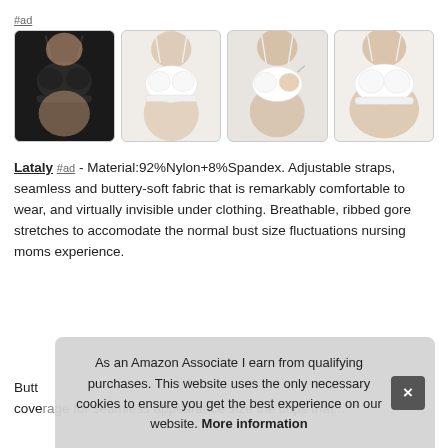#ad
[Figure (photo): Four product images of women's bras: first image shows a black bra, second shows a white bra (front view), third shows a white nursing bra being opened, fourth shows a plus-size model in a white bra.]
Lataly #ad - Material:92%Nylon+8%Spandex. Adjustable straps, seamless and buttery-soft fabric that is remarkably comfortable to wear, and virtually invisible under clothing. Breathable, ribbed gore stretches to accomodate the normal bust size fluctuations nursing moms experience.
Butt
coverage for...
As an Amazon Associate I earn from qualifying purchases. This website uses the only necessary cookies to ensure you get the best experience on our website. More information